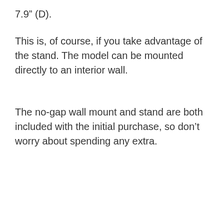7.9” (D).
This is, of course, if you take advantage of the stand. The model can be mounted directly to an interior wall.
The no-gap wall mount and stand are both included with the initial purchase, so don’t worry about spending any extra.